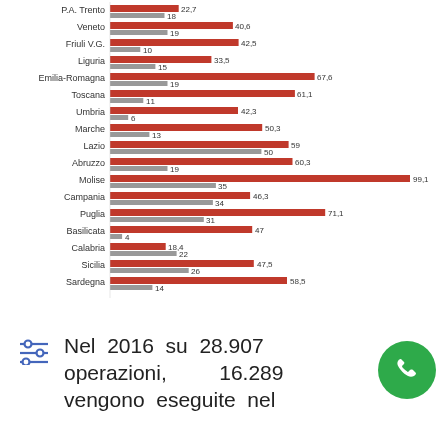[Figure (grouped-bar-chart): Regional data chart (Italian regions)]
Nel 2016 su 28.907 operazioni, 16.289 vengono eseguite nel